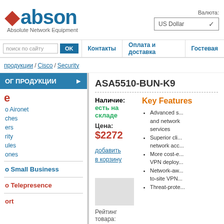abson — Absolute Network Equipment | Валюта: US Dollar
поиск по сайту | OK | Контакты | Оплата и доставка | Гостевая
продукции / Cisco / Security
ОГ ПРОДУКЦИИ
Aironet
ches
ers
rity
ules
ones
o Small Business
o Telepresence
ort
ASA5510-BUN-K9
Наличие: есть на складе
Key Features
Цена: $2272
добавить в корзину
Advanced s... and network services
Superior cli... network acc...
More cost-e... VPN deploy...
Network-aw... to-site VPN...
Threat-prote...
Рейтинг товара: